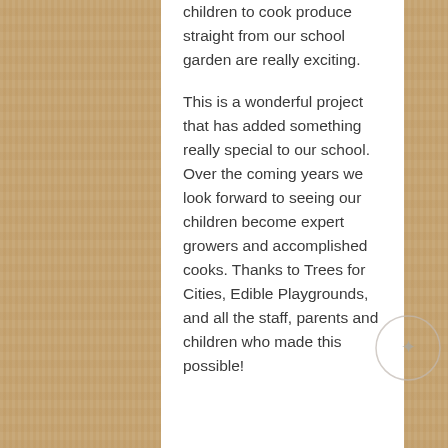children to cook produce straight from our school garden are really exciting.

This is a wonderful project that has added something really special to our school. Over the coming years we look forward to seeing our children become expert growers and accomplished cooks. Thanks to Trees for Cities, Edible Playgrounds, and all the staff, parents and children who made this possible!
[Figure (illustration): A small circular icon with a compass or star-like symbol, partially overlapping the right edge of the white panel]